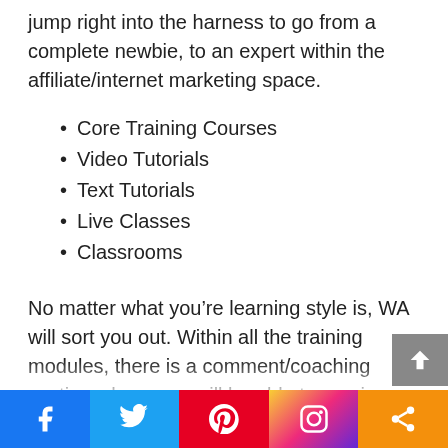jump right into the harness to go from a complete newbie, to an expert within the affiliate/internet marketing space.
Core Training Courses
Video Tutorials
Text Tutorials
Live Classes
Classrooms
No matter what you’re learning style is, WA will sort you out. Within all the training modules, there is a comment/coaching section where you will be able to receive instant help should you ever have any questions. Alternatively, you can start a